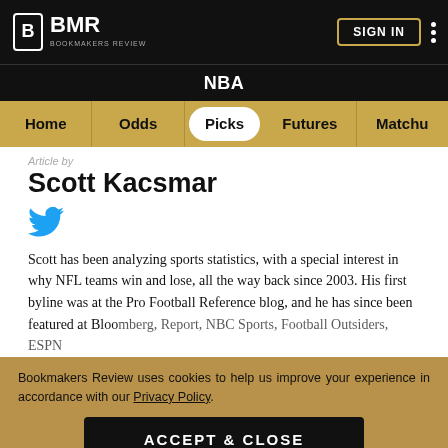BMR Bookmakers Review | SIGN IN
NBA
Home | Odds | Picks | Futures | Matchu
Article by
Scott Kacsmar
Scott has been analyzing sports statistics, with a special interest in why NFL teams win and lose, all the way back since 2003. His first byline was at the Pro Football Reference blog, and he has since been featured at Bloomberg, Report, NBC Sports, Football Outsiders, ESPN…
Bookmakers Review uses cookies to help us improve your experience in accordance with our Privacy Policy.
ACCEPT & CLOSE
SPORTSBOOKS | TODAY | ODDS | COMMUNITY | LEARN